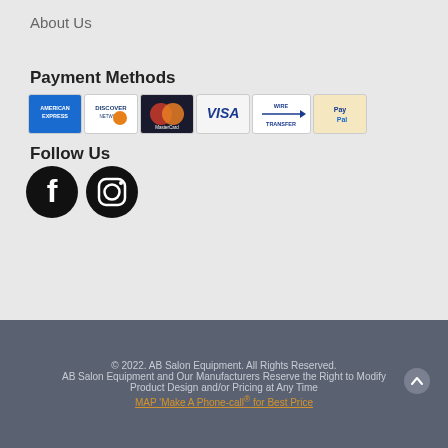About Us
Payment Methods
[Figure (logo): Payment method icons: American Express, Discover, MasterCard, Visa, Wire Transfer, PayPal]
Follow Us
[Figure (logo): Social media icons: Facebook and Instagram]
© 2022. AB Salon Equipment. All Rights Reserved. AB Salon Equipment and Our Manufacturers Reserve the Right to Modify Product Design and/or Pricing at Any Time MAP 'Make A Phone-call® for Best Price